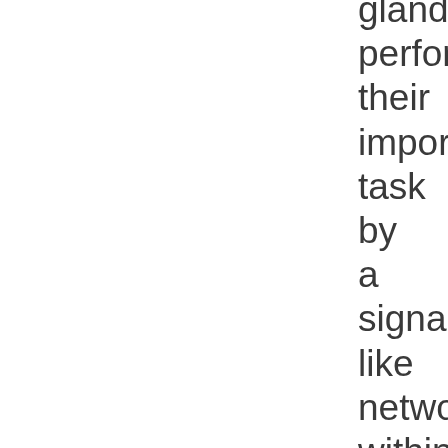glands perform their important task by a signal-like network within the body that is similar to the nervous system. These systems differ, however, in that